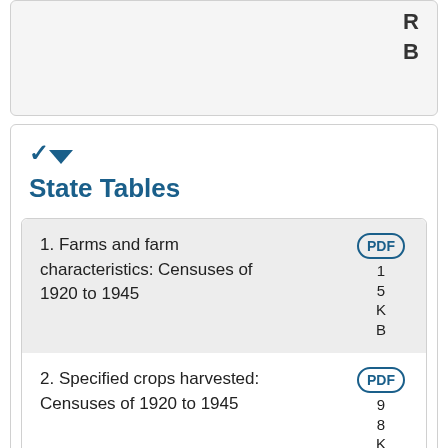R
B
State Tables
1. Farms and farm characteristics: Censuses of 1920 to 1945
2. Specified crops harvested: Censuses of 1920 to 1945